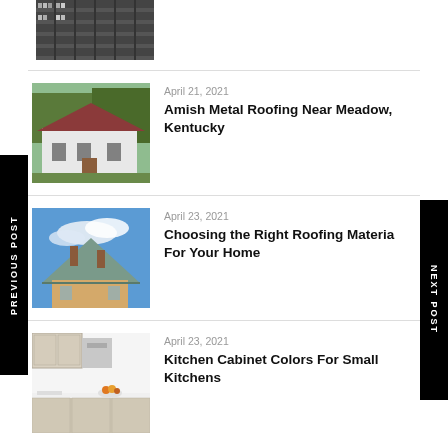[Figure (photo): Partial view of shelves with products, cropped at top]
[Figure (photo): White house with dark red metal roof and trees in background]
April 21, 2021
Amish Metal Roofing Near Meadow, Kentucky
[Figure (photo): House with metal roof and chimneys against blue sky with clouds]
April 23, 2021
Choosing the Right Roofing Material For Your Home
[Figure (photo): Modern kitchen with light wood cabinets and white countertops]
April 23, 2021
Kitchen Cabinet Colors For Small Kitchens